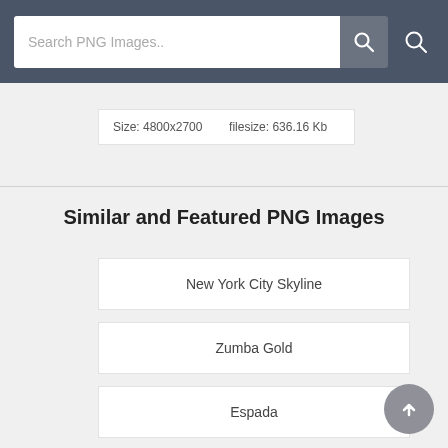Search PNG Images..
Size: 4800x2700    filesize: 636.16 Kb
Similar and Featured PNG Images
New York City Skyline
Zumba Gold
Espada
Modak
Saraswati